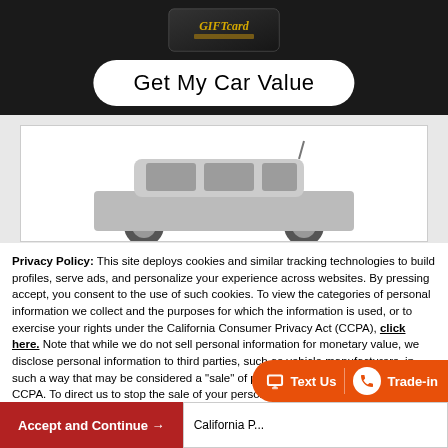[Figure (screenshot): Dark banner with a gift card image at top and a white rounded button labeled 'Get My Car Value']
[Figure (photo): Grayscale photo of a white SUV/wagon vehicle]
Privacy Policy: This site deploys cookies and similar tracking technologies to build profiles, serve ads, and personalize your experience across websites. By pressing accept, you consent to the use of such cookies. To view the categories of personal information we collect and the purposes for which the information is used, or to exercise your rights under the California Consumer Privacy Act (CCPA), click here. Note that while we do not sell personal information for monetary value, we disclose personal information to third parties, such as vehicle manufacturers, in such a way that may be considered a "sale" of personal information under the CCPA. To direct us to stop the sale of your personal information, or to re-access these settings or disclosures at anytime, click the following icon or link:
Do Not Sell My Personal Information
Language:  English   ∨   Powered by ComplyAuto
Accept and Continue →
California P...
Text Us   Trade-in